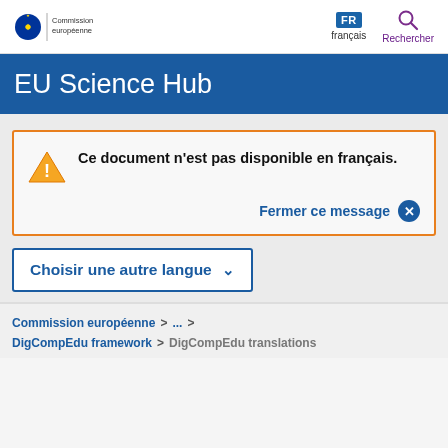Commission européenne | FR français | Rechercher
EU Science Hub
Ce document n'est pas disponible en français.
Fermer ce message
Choisir une autre langue
Commission européenne > ... >
DigCompEdu framework > DigCompEdu translations